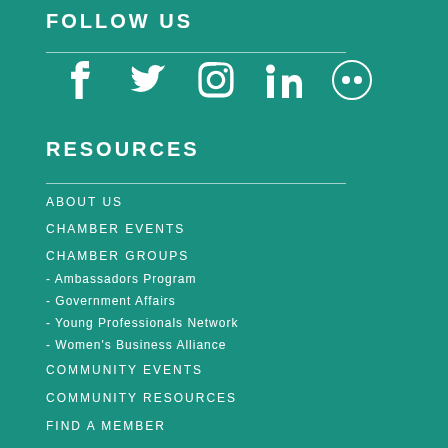FOLLOW US
[Figure (illustration): Social media icons: Facebook, Twitter, Instagram, LinkedIn, Flickr]
RESOURCES
ABOUT US
CHAMBER EVENTS
CHAMBER GROUPS
- Ambassadors Program
- Government Affairs
- Young Professionals Network
- Women's Business Alliance
COMMUNITY EVENTS
COMMUNITY RESOURCES
FIND A MEMBER